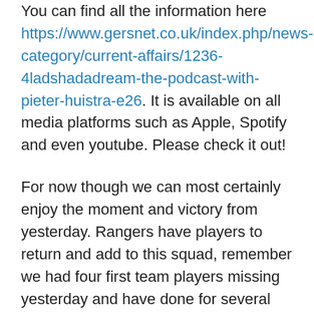You can find all the information here https://www.gersnet.co.uk/index.php/news-category/current-affairs/1236-4ladshadadream-the-podcast-with-pieter-huistra-e26. It is available on all media platforms such as Apple, Spotify and even youtube. Please check it out!
For now though we can most certainly enjoy the moment and victory from yesterday. Rangers have players to return and add to this squad, remember we had four first team players missing yesterday and have done for several weeks. We are in a good place, things are going well and we are starting to once again trust this team.